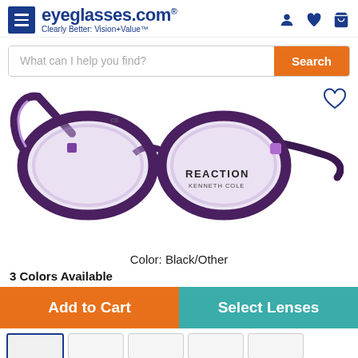eyeglasses.com — Clearly Better: Vision+Value
What can I help you find?
[Figure (photo): Purple/black Kenneth Cole Reaction eyeglasses frames on white background, cat-eye style, with brand name REACTION KENNETH COLE visible on lens]
Color: Black/Other
3 Colors Available
Add to Cart
Select Lenses